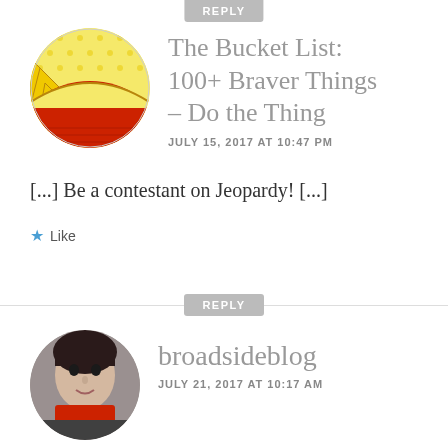REPLY
[Figure (illustration): Circular avatar logo showing a stylized sun with yellow rays and red semi-circle base, pop-art comic style]
The Bucket List: 100+ Braver Things – Do the Thing
JULY 15, 2017 AT 10:47 PM
[...] Be a contestant on Jeopardy! [...]
★ Like
REPLY
[Figure (photo): Circular avatar photo of a woman with short dark hair, smiling slightly, wearing a red collar, photographed indoors]
broadsideblog
JULY 21, 2017 AT 10:17 AM
Nerd alert! I was also on Beach